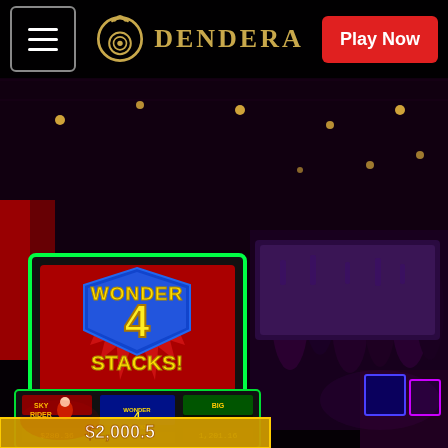[Figure (photo): Casino interior at night showing slot machines with neon lights. A large illuminated slot machine screen displays 'Wonder 4 Stacks!' game with blue shield and number 4. Below are smaller slot machine screens showing games including 'Sky Rider', 'Wonder 4 Stacks', and another game with dollar amounts $280.36, $1,201.16 displayed. Bottom of screen shows $2,000.5. Background shows a dark ceiling with pendant lights and a crowd of people cheering near screens.]
DENDERA | Play Now